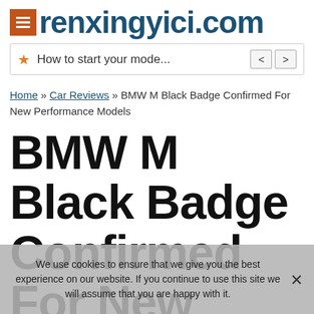renxingyici.com
How to start your mode...
Home » Car Reviews » BMW M Black Badge Confirmed For New Performance Models
BMW M Black Badge Confirmed For New Performance
We use cookies to ensure that we give you the best experience on our website. If you continue to use this site we will assume that you are happy with it.